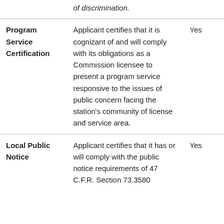| (partial) of discrimination. | (partial text continues) |  |
| Program Service Certification | Applicant certifies that it is cognizant of and will comply with its obligations as a Commission licensee to present a program service responsive to the issues of public concern facing the station's community of license and service area. | Yes |
| Local Public Notice | Applicant certifies that it has or will comply with the public notice requirements of 47 C.F.R. Section 73.3580... | Yes |